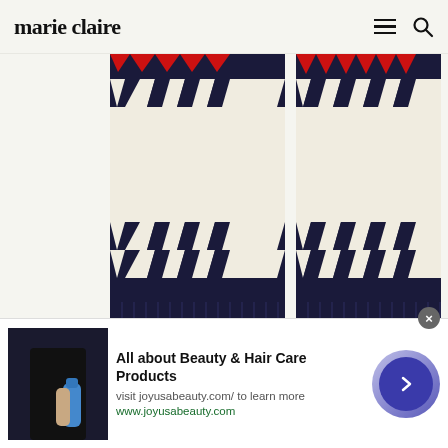marie claire
[Figure (photo): Two knitted gloves or mittens with Fair Isle / Nordic pattern in navy, cream and red colors, showing the wrist and lower portion. The items are photographed against a white background.]
[Figure (photo): Advertisement image showing a person holding a blue water bottle, wearing black outfit.]
All about Beauty & Hair Care Products
visit joyusabeauty.com/ to learn more
www.joyusabeauty.com